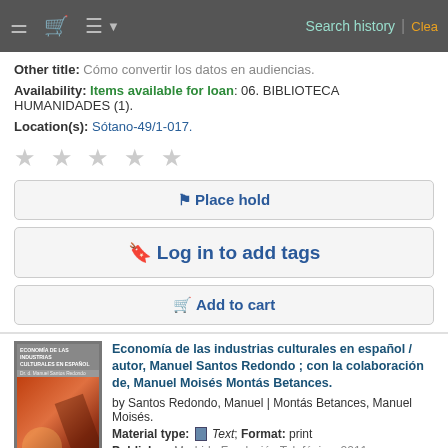Search history | Clear
Other title: Cómo convertir los datos en audiencias.
Availability: Items available for loan: 06. BIBLIOTECA HUMANIDADES (1).
Location(s): Sótano-49/1-017.
★ ★ ★ ★ ★ (stars rating)
Place hold
Log in to add tags
Add to cart
[Figure (photo): Book cover for Economía de las industrias culturales en español]
Economía de las industrias culturales en español / autor, Manuel Santos Redondo ; con la colaboración de, Manuel Moisés Montás Betances.
by Santos Redondo, Manuel | Montás Betances, Manuel Moisés.
Material type: Text; Format: print
Publisher: Madrid : Fundación Telefónica, 2011
Availability: Items available for loan: 06. BIBLIOTECA